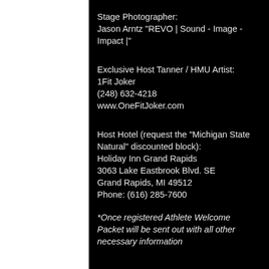Stage Photographer:
Jason Arntz "REVO | Sound - Image - Impact |"
Exclusive Host Tanner / HMU Artist:
1Fit Joker
(248) 632-4218
www.OneFitJoker.com
Host Hotel (request the "Michigan State Natural" discounted block):
Holiday Inn Grand Rapids
3063 Lake Eastbrook Blvd. SE
Grand Rapids, MI 49512
Phone: (616) 285-7600
*Once registered Athlete Welcome Packet will be sent out with all other necessary information